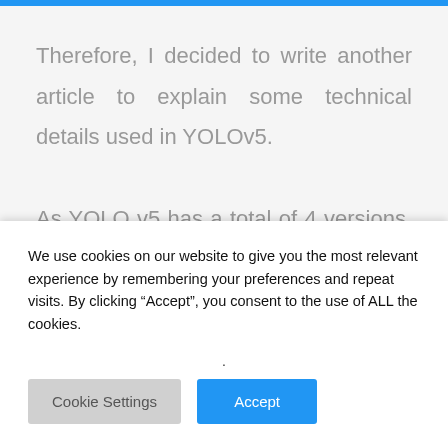Therefore, I decided to write another article to explain some technical details used in YOLOv5.
As YOLO v5 has a total of 4 versions, I will cover the 's' version. But if you refer this thoroughly you will find that in other versions there are no huge changes
We use cookies on our website to give you the most relevant experience by remembering your preferences and repeat visits. By clicking “Accept”, you consent to the use of ALL the cookies.